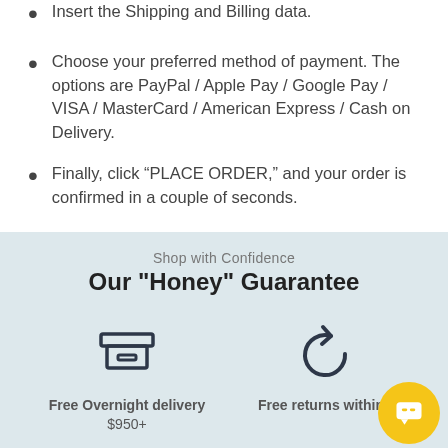Insert the Shipping and Billing data.
Choose your preferred method of payment. The options are PayPal / Apple Pay / Google Pay / VISA / MasterCard / American Express / Cash on Delivery.
Finally, click “PLACE ORDER,” and your order is confirmed in a couple of seconds.
Shop with Confidence
Our "Honey" Guarantee
Free Overnight delivery
$950+
Free returns within